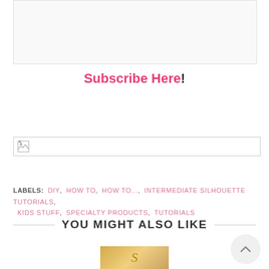[Figure (photo): Top image placeholder box, light gray background]
Subscribe Here!
[Figure (photo): Banner image placeholder with broken image icon]
LABELS: DIY, HOW TO, HOW TO..., INTERMEDIATE SILHOUETTE TUTORIALS, KIDS STUFF, SPECIALTY PRODUCTS, TUTORIALS
YOU MIGHT ALSO LIKE
[Figure (photo): Thumbnail image showing a monogram letter on fabric/material]